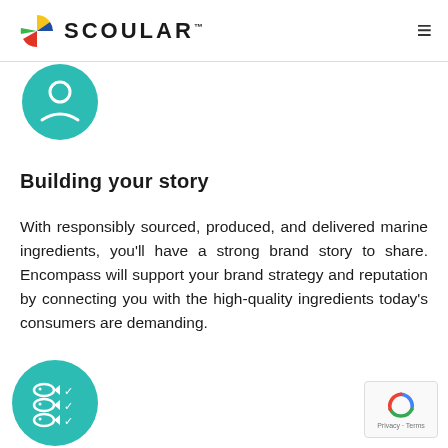SCOULAR
[Figure (illustration): Teal circle icon with a white person/food silhouette icon at the top of the page]
Building your story
With responsibly sourced, produced, and delivered marine ingredients, you’ll have a strong brand story to share. Encompass will support your brand strategy and reputation by connecting you with the high-quality ingredients today’s consumers are demanding.
[Figure (illustration): Teal circle icon with three fish and checkmark icons at the bottom of the page]
[Figure (other): reCAPTCHA badge in bottom right corner showing Google reCAPTCHA logo with Privacy and Terms text]